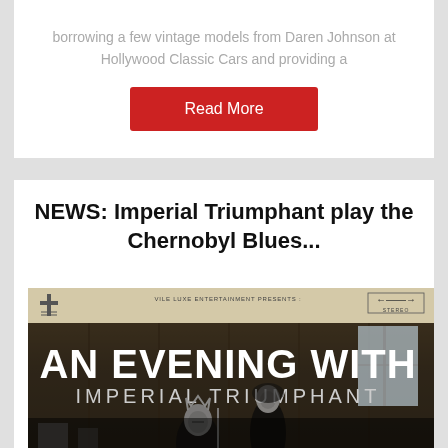borrowing a few vintage models from Daren Johnson at Hollywood Classic Cars and providing a
Read More
NEWS: Imperial Triumphant play the Chernobyl Blues...
[Figure (photo): Album art for 'An Evening With Imperial Triumphant' — a vintage record sleeve style image with a cream label bar at top reading 'Vile Luxe Entertainment Presents:' with a logo on the left and a STEREO badge on the right, over a dark moody black-and-white photograph of masked figures in what appears to be a barn or cabin interior with large white text reading 'AN EVENING WITH IMPERIAL TRIUMPHANT']